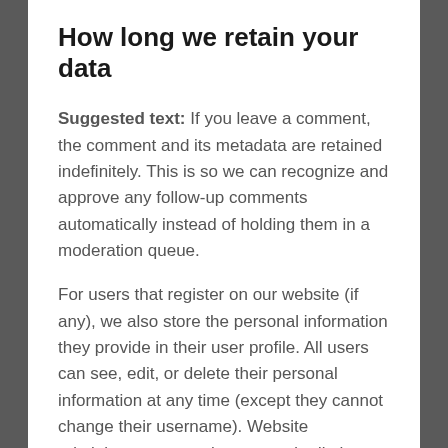How long we retain your data
Suggested text: If you leave a comment, the comment and its metadata are retained indefinitely. This is so we can recognize and approve any follow-up comments automatically instead of holding them in a moderation queue.
For users that register on our website (if any), we also store the personal information they provide in their user profile. All users can see, edit, or delete their personal information at any time (except they cannot change their username). Website administrators can also see and edit that information.
What rights you have over your